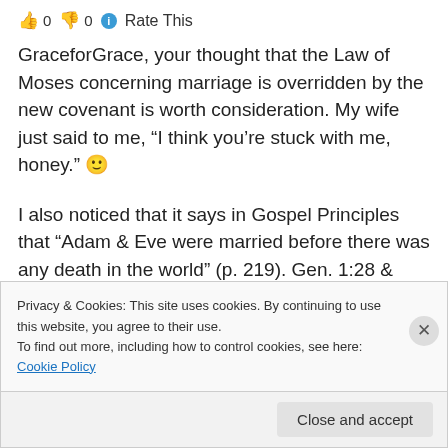👍 0 👎 0 ℹ Rate This
GraceforGrace, your thought that the Law of Moses concerning marriage is overridden by the new covenant is worth consideration. My wife just said to me, “I think you’re stuck with me, honey.” 🙂
I also noticed that it says in Gospel Principles that “Adam & Eve were married before there was any death in the world” (p. 219). Gen. 1:28 & 2:24 indicate that this does appear to be the
Privacy & Cookies: This site uses cookies. By continuing to use this website, you agree to their use.
To find out more, including how to control cookies, see here: Cookie Policy
Close and accept